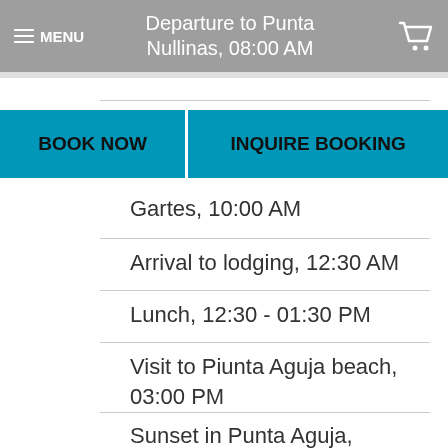Departure to Punta Nullinas, 08:00 AM
[Figure (screenshot): BOOK NOW and INQUIRE BOOKING buttons in teal/blue]
Gartes, 10:00 AM
Arrival to lodging, 12:30 AM
Lunch, 12:30 - 01:30 PM
Visit to Piunta Aguja beach, 03:00 PM
Sunset in Punta Aguja, 05:30 PM
Dinner and accommodation, 07:00 PM